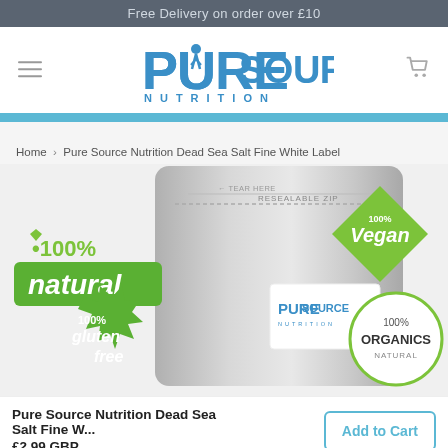Free Delivery on order over £10
[Figure (logo): Pure Source Nutrition logo with blue lettering and stylized figures]
Home › Pure Source Nutrition Dead Sea Salt Fine White Label
[Figure (photo): Pure Source Nutrition Dead Sea Salt Fine White Label product bag with badges: 100% natural, 100% Vegan, 100% gluten free, 100% Organics Natural. Grey resealable zip pouch.]
Pure Source Nutrition Dead Sea Salt Fine W...
£2.99 GBP
Add to Cart